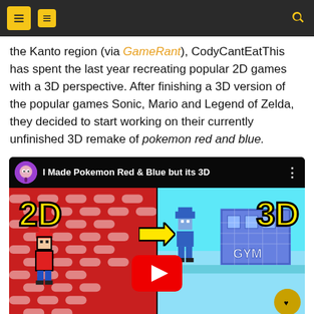navigation header with icons
the Kanto region (via GameRant), CodyCantEatThis has spent the last year recreating popular 2D games with a 3D perspective. After finishing a 3D version of the popular games Sonic, Mario and Legend of Zelda, they decided to start working on their currently unfinished 3D remake of pokemon red and blue.
[Figure (screenshot): YouTube video thumbnail titled 'I Made Pokemon Red & Blue but its 3D' showing a split screen with 2D Pokemon Red on the left and 3D remake on the right, with a red YouTube play button in the center]